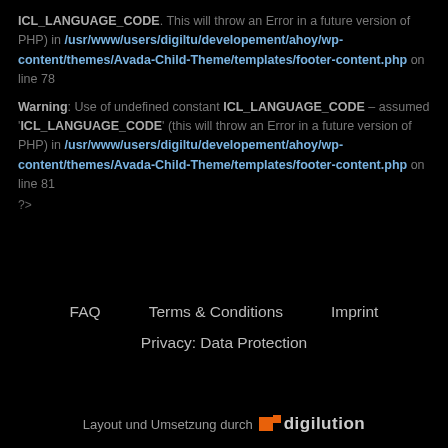ICL_LANGUAGE_CODE. This will throw an Error in a future version of PHP) in /usr/www/users/digiltu/developement/ahoy/wp-content/themes/Avada-Child-Theme/templates/footer-content.php on line 78
Warning: Use of undefined constant ICL_LANGUAGE_CODE – assumed 'ICL_LANGUAGE_CODE' (this will throw an Error in a future version of PHP) in /usr/www/users/digiltu/developement/ahoy/wp-content/themes/Avada-Child-Theme/templates/footer-content.php on line 81 ?>
FAQ    Terms & Conditions    Imprint
Privacy: Data Protection
Layout und Umsetzung durch  digilution